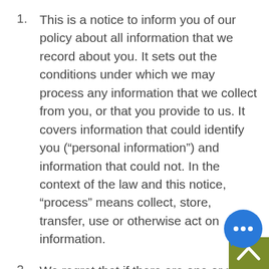This is a notice to inform you of our policy about all information that we record about you. It sets out the conditions under which we may process any information that we collect from you, or that you provide to us. It covers information that could identify you (“personal information”) and information that could not. In the context of the law and this notice, “process” means collect, store, transfer, use or otherwise act on information.
We regret that if there are one or more points below with which you
[Figure (illustration): Blue chat bubble icon with three dots, overlaid on an olive/green square with an upward chevron arrow, positioned at bottom-right corner]